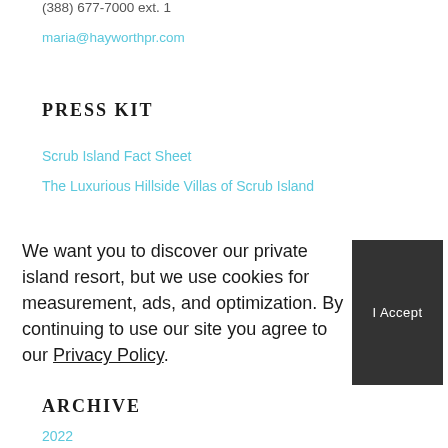(388) 677-7000 ext. 1
maria@hayworthpr.com
PRESS KIT
Scrub Island Fact Sheet
The Luxurious Hillside Villas of Scrub Island
We want you to discover our private island resort, but we use cookies for measurement, ads, and optimization. By continuing to use our site you agree to our Privacy Policy.
I Accept
ARCHIVE
2022